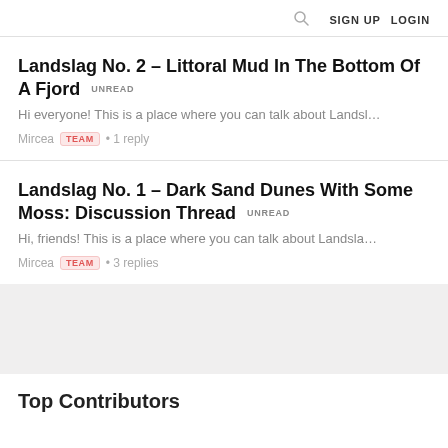SIGN UP  LOGIN
Landslag No. 2 – Littoral Mud In The Bottom Of A Fjord  UNREAD
Hi everyone! This is a place where you can talk about Landsl…
Mircea  TEAM  • 1 reply
Landslag No. 1 – Dark Sand Dunes With Some Moss: Discussion Thread  UNREAD
Hi, friends! This is a place where you can talk about Landsla…
Mircea  TEAM  • 3 replies
Top Contributors